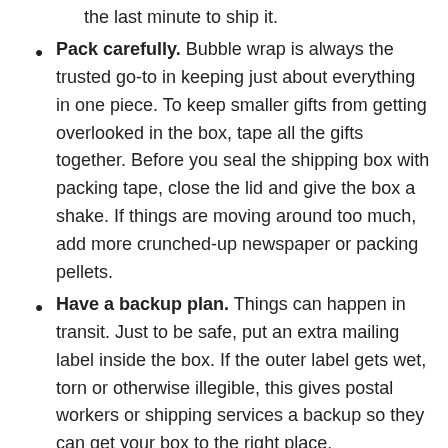the last minute to ship it.
Pack carefully. Bubble wrap is always the trusted go-to in keeping just about everything in one piece. To keep smaller gifts from getting overlooked in the box, tape all the gifts together. Before you seal the shipping box with packing tape, close the lid and give the box a shake. If things are moving around too much, add more crunched-up newspaper or packing pellets.
Have a backup plan. Things can happen in transit. Just to be safe, put an extra mailing label inside the box. If the outer label gets wet, torn or otherwise illegible, this gives postal workers or shipping services a backup so they can get your box to the right place.
Get insured. Look into what your shipping carrier